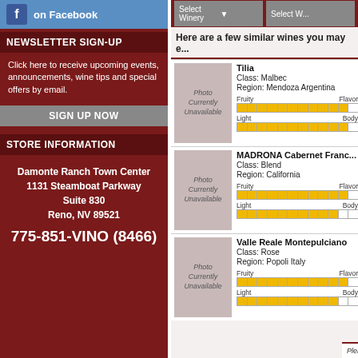[Figure (logo): Facebook logo button with 'on Facebook' text]
NEWSLETTER SIGN-UP
Click here to receive upcoming events, announcements, wine tips and special offers by email.
SIGN UP NOW
STORE INFORMATION
Damonte Ranch Town Center
1131 Steamboat Parkway
Suite 830
Reno, NV 89521
775-851-VINO (8466)
Here are a few similar wines you may e...
Tilia
Class: Malbec
Region: Mendoza Argentina
[Figure (photo): Photo Currently Unavailable placeholder for Tilia wine]
MADRONA Cabernet Franc...
Class: Blend
Region: California
[Figure (photo): Photo Currently Unavailable placeholder for MADRONA wine]
Valle Reale Montepulciano
Class: Rose
Region: Popoli Italy
[Figure (photo): Photo Currently Unavailable placeholder for Valle Reale wine]
Please note that product description...